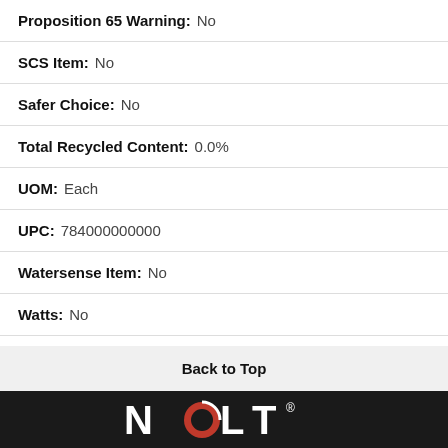Proposition 65 Warning: No
SCS Item: No
Safer Choice: No
Total Recycled Content: 0.0%
UOM: Each
UPC: 784000000000
Watersense Item: No
Watts: No
Weight: 1.000000
Back to Top
[Figure (logo): NorLT company logo in white and red on black background]